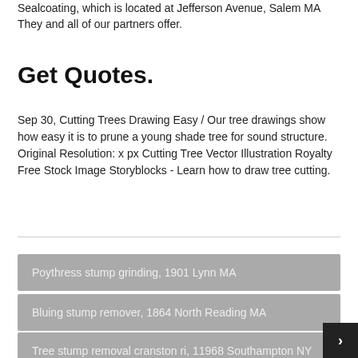Sealcoating, which is located at Jefferson Avenue, Salem MA They and all of our partners offer.
Get Quotes.
Sep 30, Cutting Trees Drawing Easy / Our tree drawings show how easy it is to prune a young shade tree for sound structure. Original Resolution: x px Cutting Tree Vector Illustration Royalty Free Stock Image Storyblocks - Learn how to draw tree cutting.
Poythress stump grinding, 1901 Lynn MA
Bluing stump remover, 1864 North Reading MA
Tree stump removal cranston ri, 11968 Southampton NY